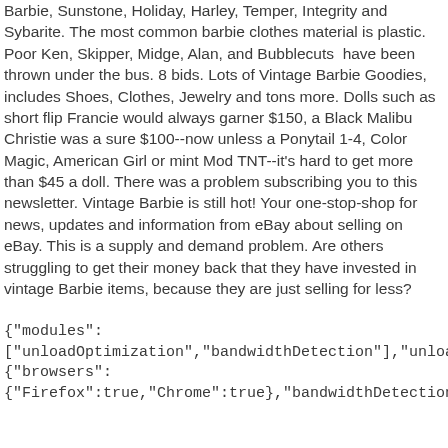Barbie, Sunstone, Holiday, Harley, Temper, Integrity and Sybarite. The most common barbie clothes material is plastic. Poor Ken, Skipper, Midge, Alan, and Bubblecuts  have been thrown under the bus. 8 bids. Lots of Vintage Barbie Goodies, includes Shoes, Clothes, Jewelry and tons more. Dolls such as short flip Francie would always garner $150, a Black Malibu Christie was a sure $100--now unless a Ponytail 1-4, Color Magic, American Girl or mint Mod TNT--it's hard to get more than $45 a doll. There was a problem subscribing you to this newsletter. Vintage Barbie is still hot! Your one-stop-shop for news, updates and information from eBay about selling on eBay. This is a supply and demand problem. Are others struggling to get their money back that they have invested in vintage Barbie items, because they are just selling for less?
{"modules": ["unloadOptimization","bandwidthDetection"],"unloadOptimization": {"browsers": {"Firefox":true,"Chrome":true}},"bandwidthDetection":